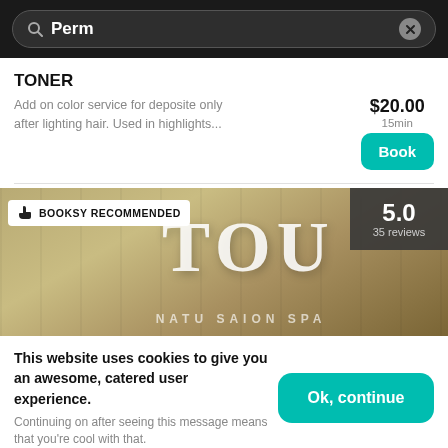[Figure (screenshot): Search bar with 'Perm' text and close button on dark background]
TONER
Add on color service for deposite only after lighting hair. Used in highlights...
$20.00
15min
[Figure (screenshot): Salon image with 'TOU' letters, Booksy Recommended badge, and 5.0 / 35 reviews rating badge]
This website uses cookies to give you an awesome, catered user experience.
Continuing on after seeing this message means that you're cool with that.
Your Booksy  Explore  Appointments  Profile